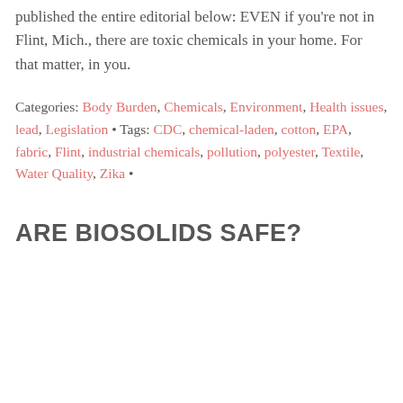published the entire editorial below: EVEN if you're not in Flint, Mich., there are toxic chemicals in your home. For that matter, in you.
Categories: Body Burden, Chemicals, Environment, Health issues, lead, Legislation • Tags: CDC, chemical-laden, cotton, EPA, fabric, Flint, industrial chemicals, pollution, polyester, Textile, Water Quality, Zika •
ARE BIOSOLIDS SAFE?